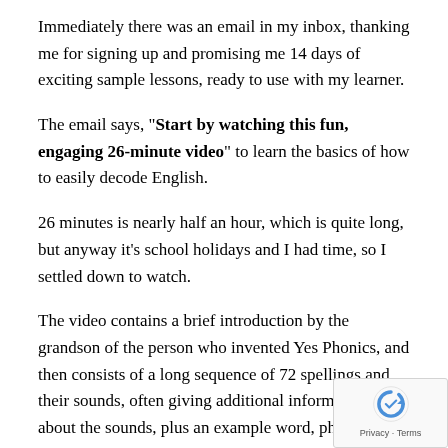Immediately there was an email in my inbox, thanking me for signing up and promising me 14 days of exciting sample lessons, ready to use with my learner.
The email says, "Start by watching this fun, engaging 26-minute video" to learn the basics of how to easily decode English.
26 minutes is nearly half an hour, which is quite long, but anyway it's school holidays and I had time, so I settled down to watch.
The video contains a brief introduction by the grandson of the person who invented Yes Phonics, and then consists of a long sequence of 72 spellings and their sounds, often giving additional information about the sounds, plus an example word, phrase, or sentence.